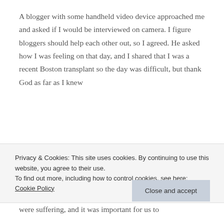A blogger with some handheld video device approached me and asked if I would be interviewed on camera. I figure bloggers should help each other out, so I agreed. He asked how I was feeling on that day, and I shared that I was a recent Boston transplant so the day was difficult, but thank God as far as I knew
Privacy & Cookies: This site uses cookies. By continuing to use this website, you agree to their use.
To find out more, including how to control cookies, see here: Cookie Policy
Close and accept
were suffering, and it was important for us to